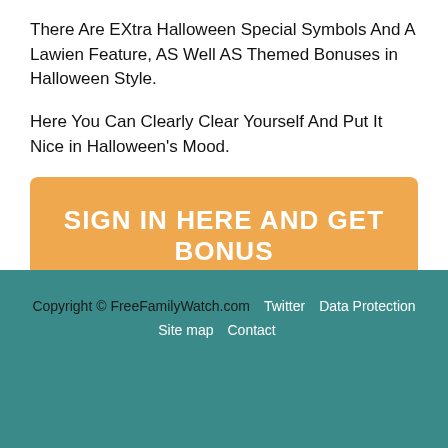There Are EXtra Halloween Special Symbols And A Lawien Feature, AS Well AS Themed Bonuses in Halloween Style.
Here You Can Clearly Clear Yourself And Put It Nice in Halloween's Mood.
SIGN IN HERE AND GET BONUS
Copyright © FreeFamilyWatch.com  Twitter  Data Protection  Site map  Contact